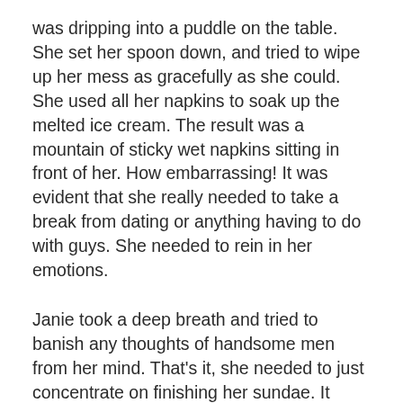was dripping into a puddle on the table. She set her spoon down, and tried to wipe up her mess as gracefully as she could. She used all her napkins to soak up the melted ice cream. The result was a mountain of sticky wet napkins sitting in front of her. How embarrassing! It was evident that she really needed to take a break from dating or anything having to do with guys. She needed to rein in her emotions.
Janie took a deep breath and tried to banish any thoughts of handsome men from her mind. That's it, she needed to just concentrate on finishing her sundae. It wouldn't take long, she was almost done. Janie picked up the cherry she had set aside and swirled it through the remnants of melted ice cream and fudge. She lifted the dripping fruit to her lips and popped it in whole. As she bit into the overly sweet confection it burst, flooding her mouth with